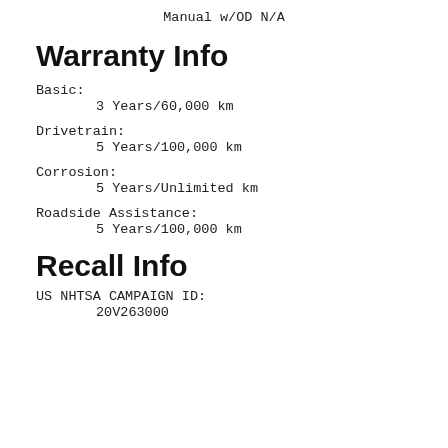Manual w/OD N/A
Warranty Info
Basic:
        3 Years/60,000 km
Drivetrain:
        5 Years/100,000 km
Corrosion:
        5 Years/Unlimited km
Roadside Assistance:
        5 Years/100,000 km
Recall Info
US NHTSA CAMPAIGN ID:
        20V263000